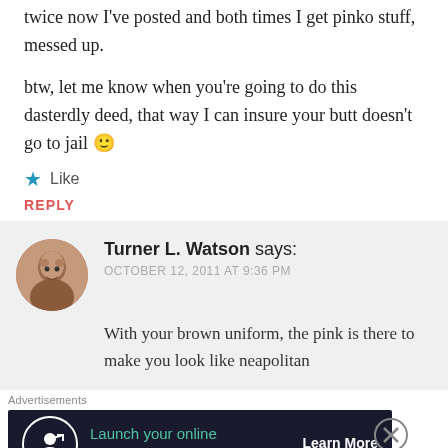twice now I've posted and both times I get pinko stuff, messed up.
btw, let me know when you're going to do this dasterdly deed, that way I can insure your butt doesn't go to jail 🙂
Like
REPLY
Turner L. Watson says:
OCTOBER 12, 2011 AT 9:36 PM
With your brown uniform, the pink is there to make you look like neapolitan
Advertisements
Launch your online course with WordPress
Learn More